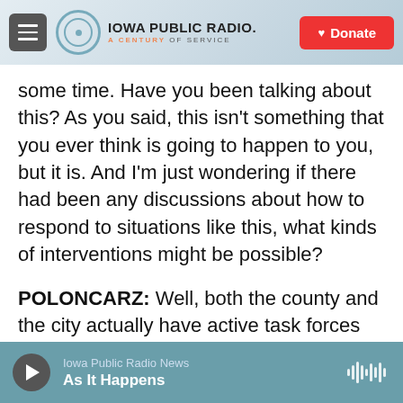Iowa Public Radio — A Century of Service | Donate
some time. Have you been talking about this? As you said, this isn't something that you ever think is going to happen to you, but it is. And I'm just wondering if there had been any discussions about how to respond to situations like this, what kinds of interventions might be possible?
POLONCARZ: Well, both the county and the city actually have active task forces that work together with regards to gun violence in our community. The city of Buffalo is not immune to gun violence in our community, but we've worked hard, especially with our partners and community organizations like
Iowa Public Radio News | As It Happens